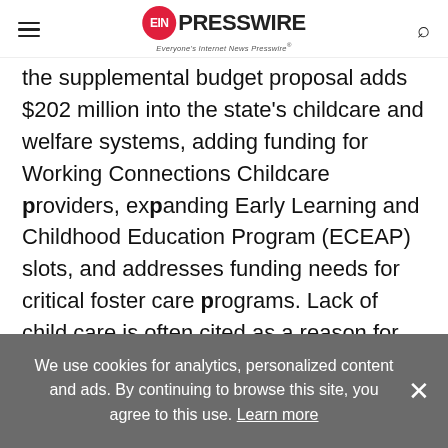EIN PRESSWIRE — Everyone's Internet News Presswire
the supplemental budget proposal adds $202 million into the state's childcare and welfare systems, adding funding for Working Connections Childcare providers, expanding Early Learning and Childhood Education Program (ECEAP) slots, and addresses funding needs for critical foster care programs. Lack of child care is often cited as a reason for one parent, usually women, leaving the workforce and significantly reducing family income as well as impacting businesses attempting to retain valuable employees.
We use cookies for analytics, personalized content and ads. By continuing to browse this site, you agree to this use. Learn more